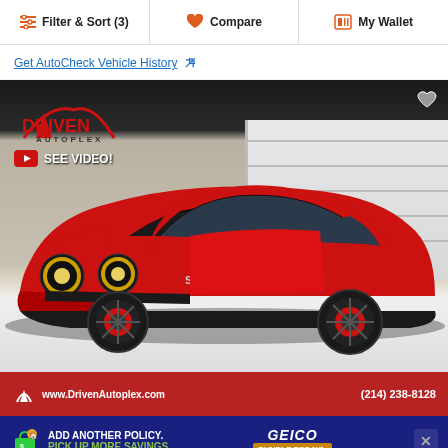Filter & Sort (3)   Compare   My Wallet
Get AutoCheck Vehicle History ↗
[Figure (photo): Red Dodge Challenger SRT muscle car displayed in a dealership, with Driven Autoplex logo and 'SEE VIDEO!' text in upper left, heart icon overlay in upper right, dealership website www.DrivenAutoplex.com and phone (214) 238-8128 shown at bottom]
ADD ANOTHER POLICY. PICK UP MORE SAVINGS. GEICO BUNDLE TODAY×
Used